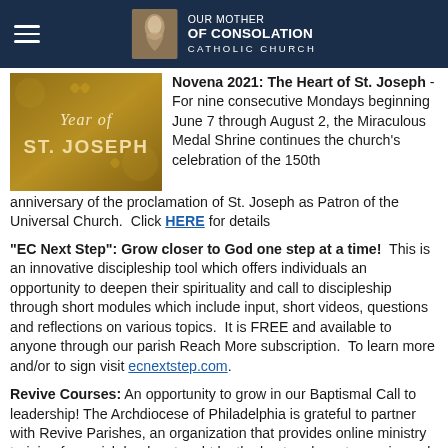Our Mother of Consolation Catholic Church
[Figure (illustration): Year of ST. JOSEPH decorative image with golden background]
Novena 2021: The Heart of St. Joseph - For nine consecutive Mondays beginning June 7 through August 2, the Miraculous Medal Shrine continues the church's celebration of the 150th anniversary of the proclamation of St. Joseph as Patron of the Universal Church. Click HERE for details
"EC Next Step": Grow closer to God one step at a time! This is an innovative discipleship tool which offers individuals an opportunity to deepen their spirituality and call to discipleship through short modules which include input, short videos, questions and reflections on various topics. It is FREE and available to anyone through our parish Reach More subscription. To learn more and/or to sign visit ecnextstep.com.
Revive Courses: An opportunity to grow in our Baptismal Call to leadership! The Archdiocese of Philadelphia is grateful to partner with Revive Parishes, an organization that provides online ministry training for parish leaders taught by the best and most experienced Catholic ministry practitioners in the country. WE ARE ALL PARISH LEADERS by virtual of our Baptism. Revive provides individuals with a way to enrich their own ministry in our world and in our parish so that they can more effectively care for